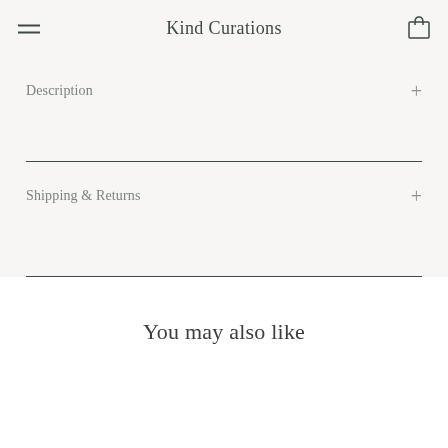Kind Curations
Description
Shipping & Returns
You may also like